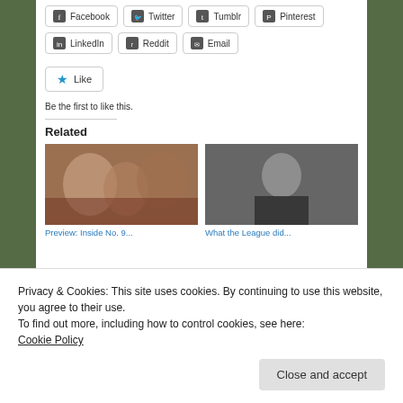[Figure (screenshot): Social share buttons row 1: Facebook, Twitter, Tumblr, Pinterest]
[Figure (screenshot): Social share buttons row 2: LinkedIn, Reddit, Email]
[Figure (screenshot): Like button with star icon]
Be the first to like this.
Related
[Figure (photo): Group of people in a restaurant or bar setting - related article thumbnail]
[Figure (photo): Man in glasses and suit - related article thumbnail]
Preview: Inside No. 9...
What the League did...
Privacy & Cookies: This site uses cookies. By continuing to use this website, you agree to their use.
To find out more, including how to control cookies, see here:
Cookie Policy